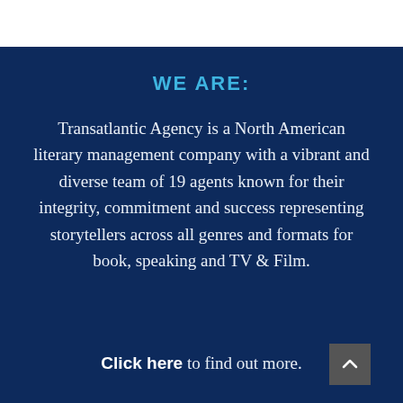WE ARE:
Transatlantic Agency is a North American literary management company with a vibrant and diverse team of 19 agents known for their integrity, commitment and success representing storytellers across all genres and formats for book, speaking and TV & Film.
Click here to find out more.